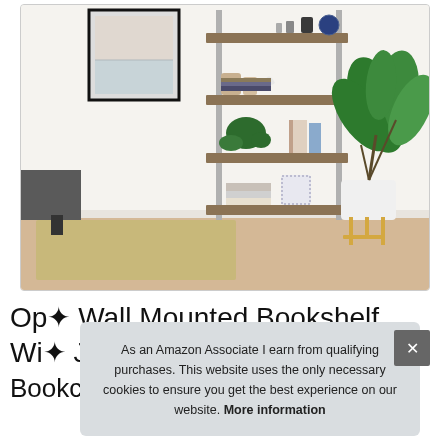[Figure (photo): A modern 4-shelf open bookcase with metal frame and walnut-colored wood shelves, styled with books, plants, vases, and decorative objects in a living room setting with a large leafy plant and sofa visible.]
Op... Wall Mounted Bookshelf wi... Ja... Bookcase, Light Brown Oak White
As an Amazon Associate I earn from qualifying purchases. This website uses the only necessary cookies to ensure you get the best experience on our website. More information